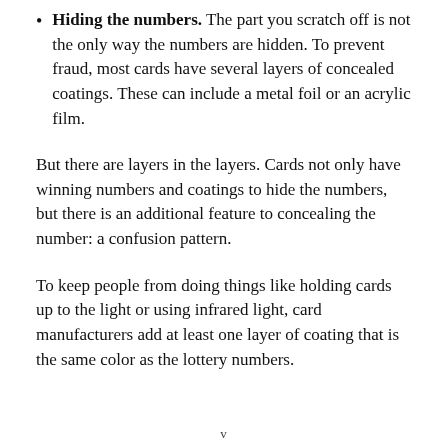Hiding the numbers. The part you scratch off is not the only way the numbers are hidden. To prevent fraud, most cards have several layers of concealed coatings. These can include a metal foil or an acrylic film.
But there are layers in the layers. Cards not only have winning numbers and coatings to hide the numbers, but there is an additional feature to concealing the number: a confusion pattern.
To keep people from doing things like holding cards up to the light or using infrared light, card manufacturers add at least one layer of coating that is the same color as the lottery numbers.
v